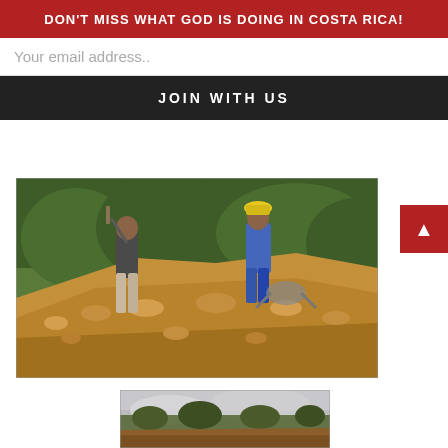DON'T MISS WHAT GOD IS DOING IN COSTA RICA!
Your email address..
JOIN WITH US
[Figure (photo): Construction site with workers digging in brown/orange rocky soil, green trees in background, one worker in dark shirt holding a tool, another in blue shirt and yellow hat]
[Figure (photo): Outdoor scene with grey overcast sky, trees visible, brown earthen mound in foreground]